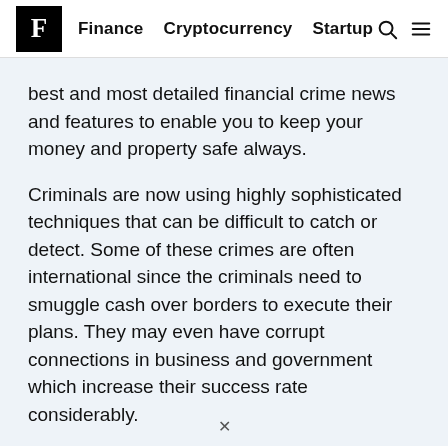F  Finance  Cryptocurrency  Startup
best and most detailed financial crime news and features to enable you to keep your money and property safe always.
Criminals are now using highly sophisticated techniques that can be difficult to catch or detect. Some of these crimes are often international since the criminals need to smuggle cash over borders to execute their plans. They may even have corrupt connections in business and government which increase their success rate considerably.